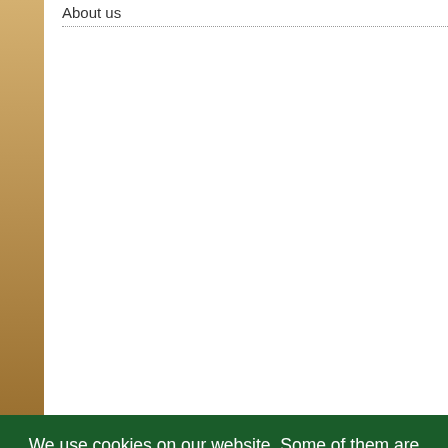About us
The Bliesgau-Buyer's Guide will info processors, dealers, restauranteurs.
The success of the Bliesgau-Buyer's dedication of producers and markete "Biosphere Bliesgau". And who do n to you in person here.
We use cookies on our website. Some of them are essential for the operation of the site, while others help us to improve this site and the user experience (tracking cookies). You can decide for yourself whether you want to allow cookies or not. Please note that if you reject them, you may not be able to use all the functionalities of the site.
Ok
Decline
More information
Imprint